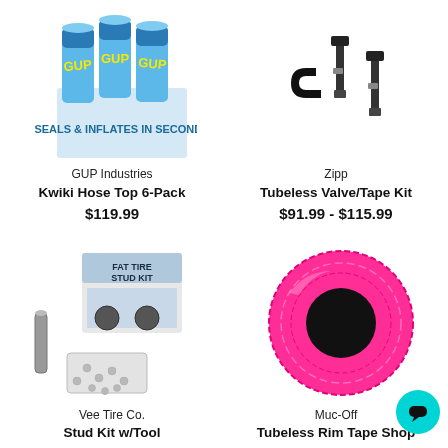[Figure (photo): GUP Industries Kwiki Hose Top 6-Pack product photo - blue aerosol cans in a display box]
GUP Industries
Kwiki Hose Top 6-Pack
$119.99
[Figure (photo): Zipp Tubeless Valve/Tape Kit product photo - black valve components on white background]
Zipp
Tubeless Valve/Tape Kit
$91.99 - $115.99
[Figure (photo): Vee Tire Co. Fat Tire Stud Kit with Tool product photo - box with studs and installation tool]
Vee Tire Co.
Stud Kit w/Tool
[Figure (photo): Muc-Off Tubeless Rim Tape Shop product photo - bright pink rim tape roll]
Muc-Off
Tubeless Rim Tape Shop